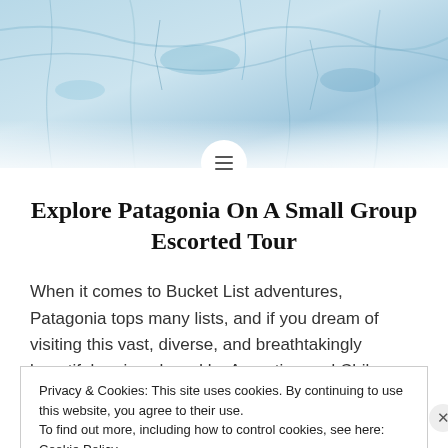[Figure (photo): Aerial or close-up view of a glacier with blue and white ice textures, Patagonia landscape]
Explore Patagonia On A Small Group Escorted Tour
When it comes to Bucket List adventures, Patagonia tops many lists, and if you dream of visiting this vast, diverse, and breathtakingly beautiful region shared by Argentina and Chile, one of the best ways to do so is on a small group
Privacy & Cookies: This site uses cookies. By continuing to use this website, you agree to their use.
To find out more, including how to control cookies, see here: Cookie Policy
Close and accept